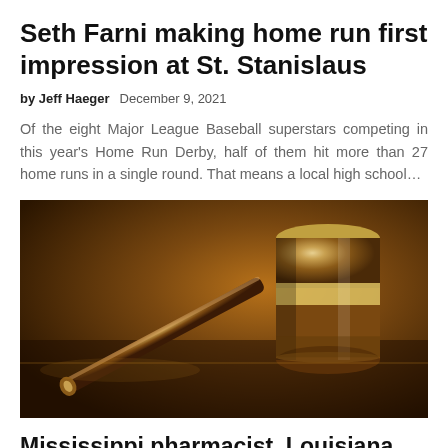Seth Farni making home run first impression at St. Stanislaus
by Jeff Haeger   December 9, 2021
Of the eight Major League Baseball superstars competing in this year's Home Run Derby, half of them hit more than 27 home runs in a single round. That means a local high school…
[Figure (photo): Close-up photograph of a wooden judge's gavel resting on a reflective surface with a warm brown/golden background.]
Mississippi pharmacist, Louisiana marketer plead guilty in health care fraud scheme